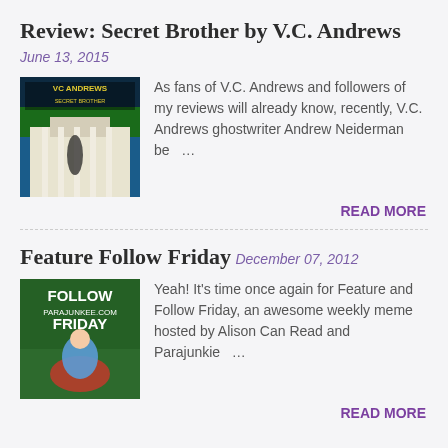Review: Secret Brother by V.C. Andrews
June 13, 2015
[Figure (photo): Book cover for Secret Brother by V.C. Andrews showing a white mansion and the VC Andrews logo in yellow text]
As fans of V.C. Andrews and followers of my reviews will already know, recently, V.C. Andrews ghostwriter Andrew Neiderman be…
READ MORE
Feature Follow Friday
December 07, 2012
[Figure (photo): Feature Follow Friday graphic with a person in a green field, white text reading FOLLOW FRIDAY]
Yeah! It's time once again for Feature and Follow Friday, an awesome weekly meme hosted by Alison Can Read and Parajunkie…
READ MORE